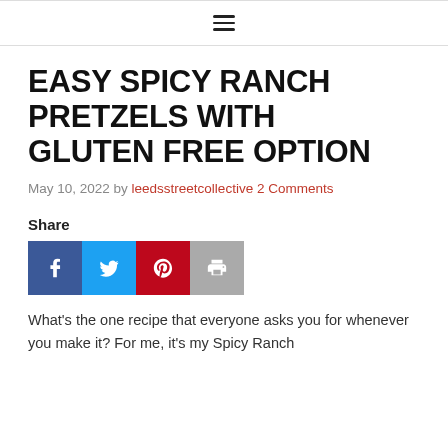≡
EASY SPICY RANCH PRETZELS WITH GLUTEN FREE OPTION
May 10, 2022 by leedsstreetcollective 2 Comments
Share
[Figure (other): Social share buttons: Facebook, Twitter, Pinterest, Print]
What's the one recipe that everyone asks you for whenever you make it? For me, it's my Spicy Ranch